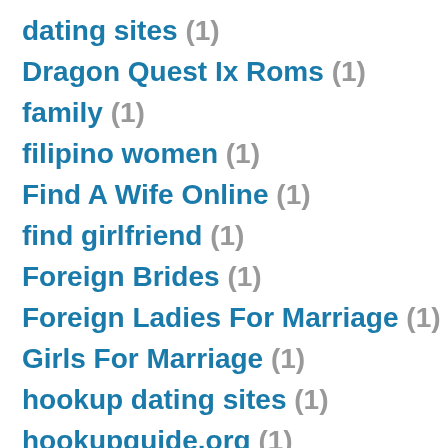dating sites (1)
Dragon Quest Ix Roms (1)
family (1)
filipino women (1)
Find A Wife Online (1)
find girlfriend (1)
Foreign Brides (1)
Foreign Ladies For Marriage (1)
Girls For Marriage (1)
hookup dating sites (1)
hookupguide.org (1)